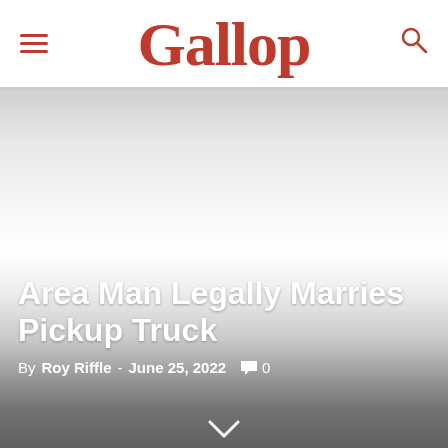Gallop
[Figure (photo): Gray gradient background image fading from light at top to dark at bottom, simulating an out-of-focus or blurred photograph]
Area Man Legally Marries Pickup Truck
By Roy Riffle - June 25, 2022  💬 0